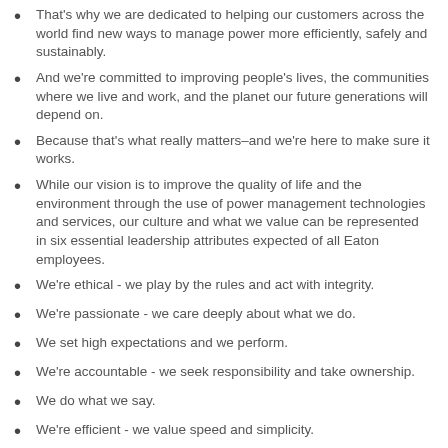That's why we are dedicated to helping our customers across the world find new ways to manage power more efficiently, safely and sustainably.
And we're committed to improving people's lives, the communities where we live and work, and the planet our future generations will depend on.
Because that's what really matters–and we're here to make sure it works.
While our vision is to improve the quality of life and the environment through the use of power management technologies and services, our culture and what we value can be represented in six essential leadership attributes expected of all Eaton employees.
We're ethical - we play by the rules and act with integrity.
We're passionate - we care deeply about what we do.
We set high expectations and we perform.
We're accountable - we seek responsibility and take ownership.
We do what we say.
We're efficient - we value speed and simplicity.